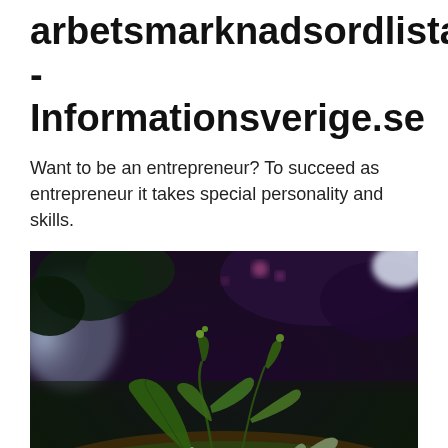arbetsmarknadsordlista - Informationsverige.se
Want to be an entrepreneur? To succeed as entrepreneur it takes special personality and skills.
[Figure (photo): Close-up photograph of small green plants and moss growing on a rock, with a dark, blurred background featuring purple and blue hues and some light flares in the upper right corner.]